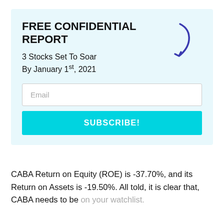FREE CONFIDENTIAL REPORT
3 Stocks Set To Soar By January 1st, 2021
[Figure (illustration): A curved arrow pointing downward-left, drawn in dark blue/indigo, indicating direction toward the email input field below.]
Email
SUBSCRIBE!
CABA Return on Equity (ROE) is -37.70%, and its Return on Assets is -19.50%. All told, it is clear that, CABA needs to be on your watchlist.